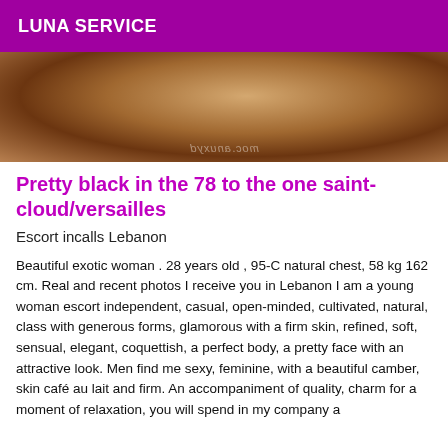LUNA SERVICE
[Figure (photo): Cropped photo of a person, dark skin tone, partial body view with watermark text in background]
Pretty black in the 78 to the one saint-cloud/versailles
Escort incalls Lebanon
Beautiful exotic woman . 28 years old , 95-C natural chest, 58 kg 162 cm. Real and recent photos I receive you in Lebanon I am a young woman escort independent, casual, open-minded, cultivated, natural, class with generous forms, glamorous with a firm skin, refined, soft, sensual, elegant, coquettish, a perfect body, a pretty face with an attractive look. Men find me sexy, feminine, with a beautiful camber, skin café au lait and firm. An accompaniment of quality, charm for a moment of relaxation, you will spend in my company a